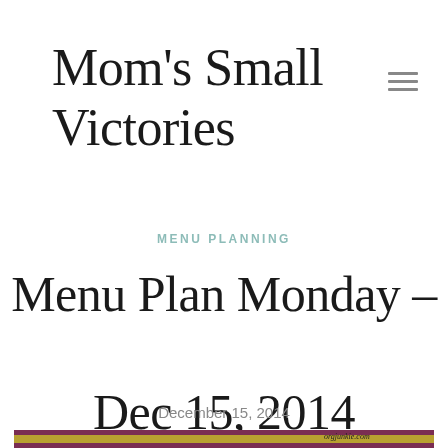Mom's Small Victories
MENU PLANNING
Menu Plan Monday – Dec 15, 2014
December 15, 2014
[Figure (illustration): Partial banner image for Menu Plan Monday from orgjunkie.com with purple and gold colors and cursive text beginning to show]